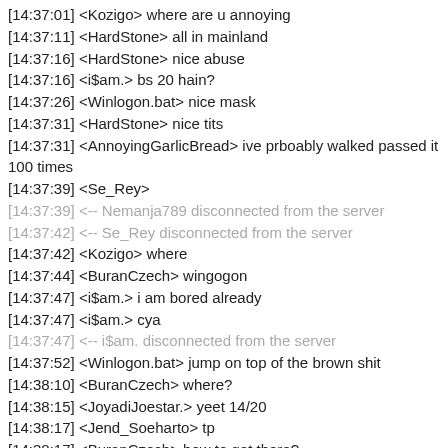[14:37:01] <Kozigo> where are u annoying
[14:37:11] <HardStone> all in mainland
[14:37:16] <HardStone> nice abuse
[14:37:16] <i$am.> bs 20 hain?
[14:37:26] <Winlogon.bat> nice mask
[14:37:31] <HardStone> nice tits
[14:37:31] <AnnoyingGarlicBread> ive prboably walked passed it 100 times
[14:37:39] <Se_Rey>
[14:37:39] <-- Nemanja789 disconnected from the server
[14:37:42] <-- Se_Rey disconnected from the server
[14:37:42] <Kozigo> where
[14:37:44] <BuranCzech> wingogon
[14:37:47] <i$am.> i am bored already
[14:37:47] <i$am.> cya
[14:37:47] <-- i$am. disconnected from the server
[14:37:52] <Winlogon.bat> jump on top of the brown shit
[14:38:10] <BuranCzech> where?
[14:38:15] <JoyadiJoestar.> yeet 14/20
[14:38:17] <Jend_Soeharto> tp
[14:38:17] <BuranCzech> how to get there?
[14:38:20] <BuranCzech> tp us
[14:38:22] <Winlogon.bat> rishasses with their rc baron smh -.-
[14:38:25] <Jend_Soeharto> tp pls
[14:38:27] <JoyadiJoestar.> no tele :p